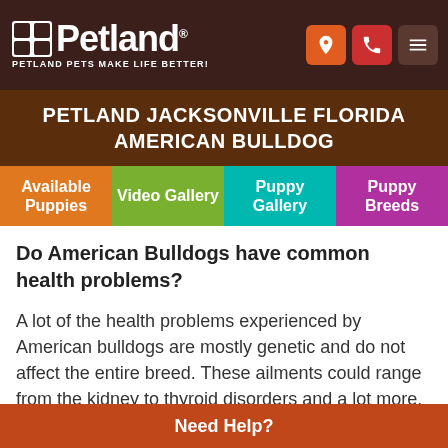Petland — PETLAND PETS MAKE LIFE BETTER!
PETLAND JACKSONVILLE FLORIDA AMERICAN BULLDOG
Available Puppies | Video Gallery | Puppy Gallery | Puppy Breeds
Do American Bulldogs have common health problems?
A lot of the health problems experienced by American bulldogs are mostly genetic and do not affect the entire breed. These ailments could range from the kidney to thyroid disorders and a lot more.
What is the American Bulldogs life expectancy?
The American bulldog has an average lifespan ranging
Need Help?